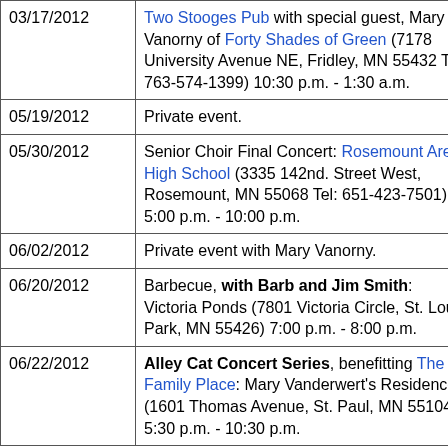| Date | Event |
| --- | --- |
| 03/17/2012 | Two Stooges Pub with special guest, Mary Vanorny of Forty Shades of Green (7178 University Avenue NE, Fridley, MN 55432 Tel: 763-574-1399) 10:30 p.m. - 1:30 a.m. |
| 05/19/2012 | Private event. |
| 05/30/2012 | Senior Choir Final Concert: Rosemount Area High School (3335 142nd. Street West, Rosemount, MN 55068 Tel: 651-423-7501) 5:00 p.m. - 10:00 p.m. |
| 06/02/2012 | Private event with Mary Vanorny. |
| 06/20/2012 | Barbecue, with Barb and Jim Smith: Victoria Ponds (7801 Victoria Circle, St. Louis Park, MN 55426) 7:00 p.m. - 8:00 p.m. |
| 06/22/2012 | Alley Cat Concert Series, benefitting The Family Place: Mary Vanderwert's Residence (1601 Thomas Avenue, St. Paul, MN 55104) 5:30 p.m. - 10:30 p.m. |